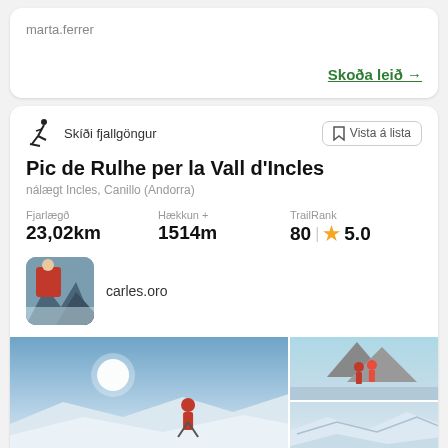marta.ferrer
Skoða leið →
Skíði fjallgöngur
Vista á lista
Pic de Rulhe per la Vall d'Incles
nálægt Incles, Canillo (Andorra)
Fjarlægð
23,02km
Hækkun +
1514m
TrailRank
80  ★ 5.0
carles.oro
[Figure (photo): Mountain climbing photo used as user avatar for carles.oro]
[Figure (photo): Large wide photo of a mountain climber on a snowy peak with bright sun]
[Figure (photo): Two climbers in red jackets on rocky mountain peak]
[Figure (photo): Aerial view of snowy mountain landscape]